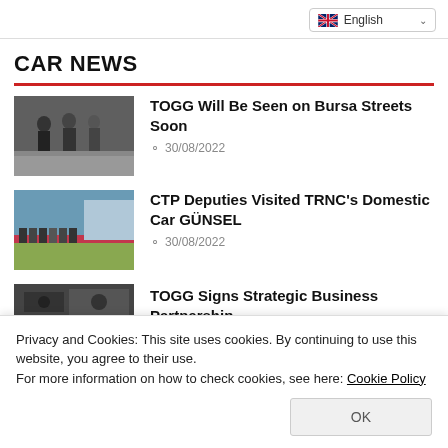English
CAR NEWS
[Figure (photo): People in suits walking outdoors]
TOGG Will Be Seen on Bursa Streets Soon
30/08/2022
[Figure (photo): Group of people standing on paved area near building]
CTP Deputies Visited TRNC's Domestic Car GÜNSEL
30/08/2022
[Figure (photo): Car interior dashboard view]
TOGG Signs Strategic Business Partnership
29/08/2022
Privacy and Cookies: This site uses cookies. By continuing to use this website, you agree to their use.
For more information on how to check cookies, see here: Cookie Policy